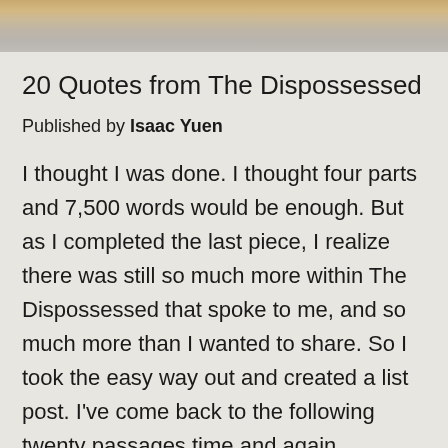[Figure (photo): Top portion of a decorative image, appears to show a wooden or earthy textured surface in warm brown tones]
20 Quotes from The Dispossessed
Published by Isaac Yuen
I thought I was done. I thought four parts and 7,500 words would be enough. But as I completed the last piece, I realize there was still so much more within The Dispossessed that spoke to me, and so much more than I wanted to share. So I took the easy way out and created a list post. I've come back to the following twenty passages time and again, discovering new nuances and insight within them. I chose them because they work both